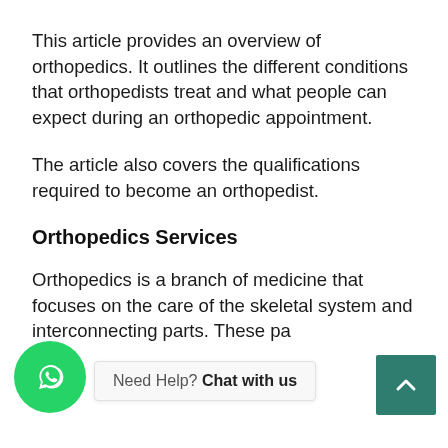This article provides an overview of orthopedics. It outlines the different conditions that orthopedists treat and what people can expect during an orthopedic appointment.
The article also covers the qualifications required to become an orthopedist.
Orthopedics Services
Orthopedics is a branch of medicine that focuses on the care of the skeletal system and interconnecting parts. These parts include...